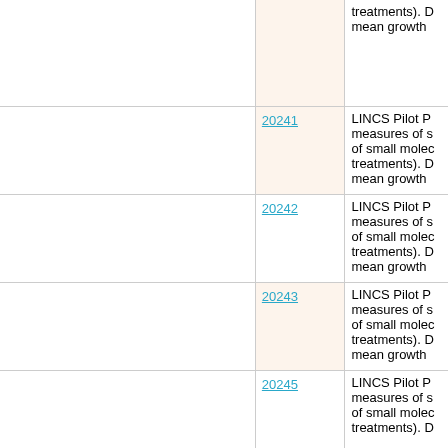| (left col) | ID | Description |
| --- | --- | --- |
|  |  | treatments). D mean growth |
|  | 20241 | LINCS Pilot P measures of s of small molec treatments). D mean growth |
|  | 20242 | LINCS Pilot P measures of s of small molec treatments). D mean growth |
|  | 20243 | LINCS Pilot P measures of s of small molec treatments). D mean growth |
|  | 20245 | LINCS Pilot P measures of s of small molec treatments). D |